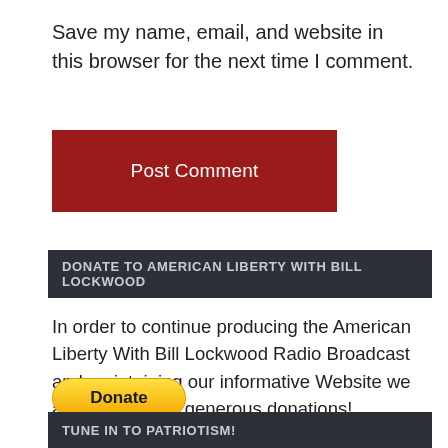Save my name, email, and website in this browser for the next time I comment.
[Figure (other): Red 'Post Comment' button]
DONATE TO AMERICAN LIBERTY WITH BILL LOCKWOOD
In order to continue producing the American Liberty With Bill Lockwood Radio Broadcast and maintaining our informative Website we appreciate your generous donations!
[Figure (other): PayPal Donate button with credit card icons (Visa, Mastercard, PayPal, Amex, Discover, JCB)]
TUNE IN TO PATRIOTISM!